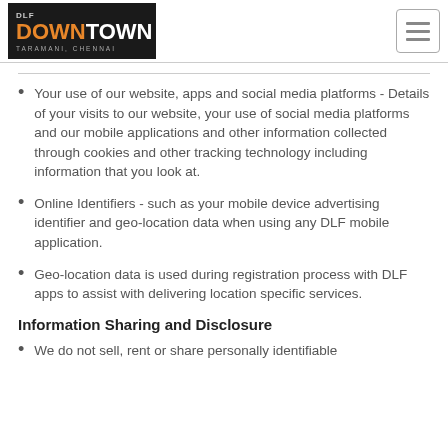DLF DOWNTOWN TARAMANI, CHENNAI
Your use of our website, apps and social media platforms - Details of your visits to our website, your use of social media platforms and our mobile applications and other information collected through cookies and other tracking technology including information that you look at.
Online Identifiers - such as your mobile device advertising identifier and geo-location data when using any DLF mobile application.
Geo-location data is used during registration process with DLF apps to assist with delivering location specific services.
Information Sharing and Disclosure
We do not sell, rent or share personally identifiable